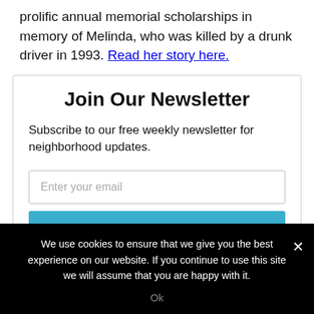prolific annual memorial scholarships in memory of Melinda, who was killed by a drunk driver in 1993. Read her story here.
Join Our Newsletter
Subscribe to our free weekly newsletter for neighborhood updates.
[Figure (screenshot): Email input field with placeholder 'Enter your email' and a teal 'Subscribe' button below]
We use cookies to ensure that we give you the best experience on our website. If you continue to use this site we will assume that you are happy with it.
Ok